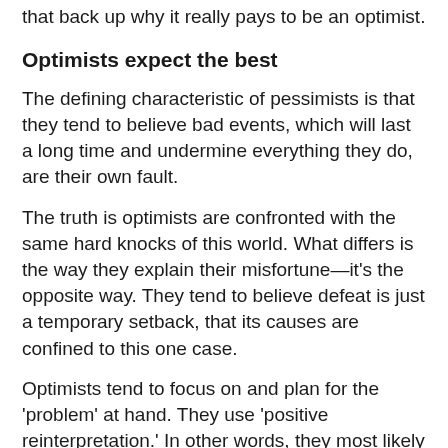that back up why it really pays to be an optimist.
Optimists expect the best
The defining characteristic of pessimists is that they tend to believe bad events, which will last a long time and undermine everything they do, are their own fault.
The truth is optimists are confronted with the same hard knocks of this world. What differs is the way they explain their misfortune—it's the opposite way. They tend to believe defeat is just a temporary setback, that its causes are confined to this one case.
Optimists tend to focus on and plan for the 'problem' at hand. They use 'positive reinterpretation.' In other words, they most likely reinterpret a negative experience in a way that helps them learn and grow. Such people are